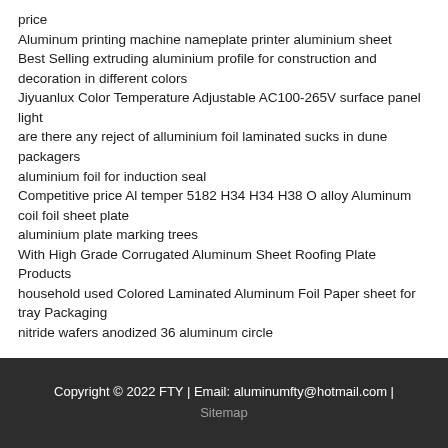price
Aluminum printing machine nameplate printer aluminium sheet
Best Selling extruding aluminium profile for construction and decoration in different colors
Jiyuanlux Color Temperature Adjustable AC100-265V surface panel light
are there any reject of alluminium foil laminated sucks in dune packagers
aluminium foil for induction seal
Competitive price Al temper 5182 H34 H34 H38 O alloy Aluminum coil foil sheet plate
aluminium plate marking trees
With High Grade Corrugated Aluminum Sheet Roofing Plate Products
household used Colored Laminated Aluminum Foil Paper sheet for tray Packaging
nitride wafers anodized 36 aluminum circle
Copyright © 2022 FTY | Email: aluminumfty@hotmail.com | Sitemap